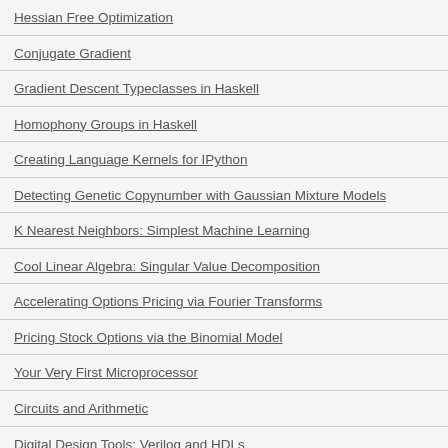Hessian Free Optimization
Conjugate Gradient
Gradient Descent Typeclasses in Haskell
Homophony Groups in Haskell
Creating Language Kernels for IPython
Detecting Genetic Copynumber with Gaussian Mixture Models
K Nearest Neighbors: Simplest Machine Learning
Cool Linear Algebra: Singular Value Decomposition
Accelerating Options Pricing via Fourier Transforms
Pricing Stock Options via the Binomial Model
Your Very First Microprocessor
Circuits and Arithmetic
Digital Design Tools: Verilog and HDLs
Quadcopter Dynamics and Simulation